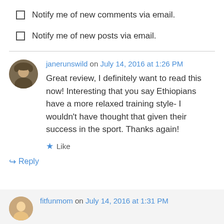Notify me of new comments via email.
Notify me of new posts via email.
janerunswild on July 14, 2016 at 1:26 PM
Great review, I definitely want to read this now! Interesting that you say Ethiopians have a more relaxed training style- I wouldn't have thought that given their success in the sport. Thanks again!
Like
Reply
fitfunmom on July 14, 2016 at 1:31 PM